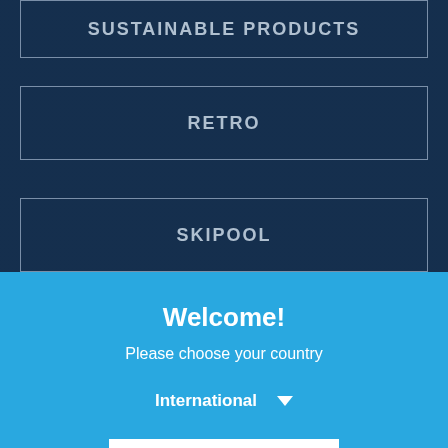SUSTAINABLE PRODUCTS
RETRO
SKIPOOL
Welcome!
Please choose your country
International
Next
Hauptstrasse 15
A-4101 Feldkirchen/Donau
+43 720 227222
service.at@myeisbaer.com